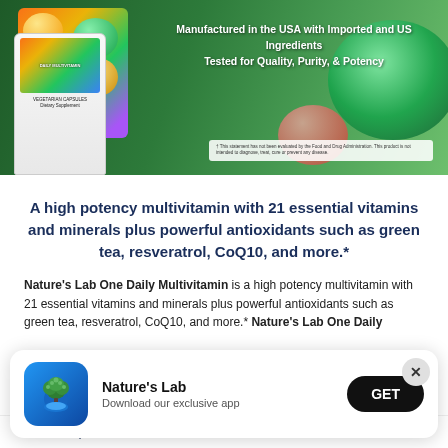[Figure (photo): Product banner showing Nature's Lab One Daily Multivitamin bottle with fruits and vegetables background. Text: 'Manufactured in the USA with Imported and US Ingredients. Tested for Quality, Purity, & Potency'. FDA disclaimer box in lower right.]
A high potency multivitamin with 21 essential vitamins and minerals plus powerful antioxidants such as green tea, resveratrol, CoQ10, and more.*
Nature's Lab One Daily Multivitamin is a high potency multivitamin with 21 essential vitamins and minerals plus powerful antioxidants such as green tea, resveratrol, CoQ10, and more.* Nature's Lab One Daily Multivitamin promotes energy production, metabolism, cell
[Figure (screenshot): App download popup banner with Nature's Lab logo (tree icon on blue background), text 'Nature's Lab', 'Download our exclusive app', GET button, and close X button]
Effective, Better Nutrient Levels*